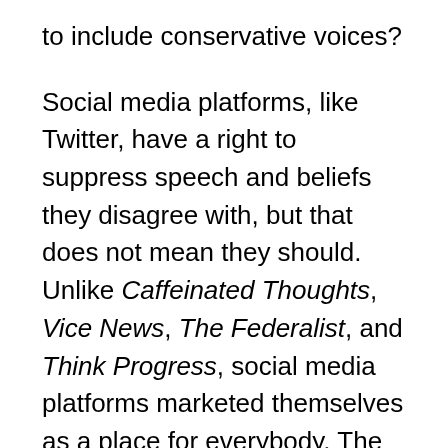to include conservative voices?
Social media platforms, like Twitter, have a right to suppress speech and beliefs they disagree with, but that does not mean they should. Unlike Caffeinated Thoughts, Vice News, The Federalist, and Think Progress, social media platforms marketed themselves as a place for everybody. The best way to battle bad speech is with good speech. Suppressing speech you disagree with does not elevate our civil discourse.
So we should pressure Twitter and perhaps even stop using Twitter if they don't respond accordingly,